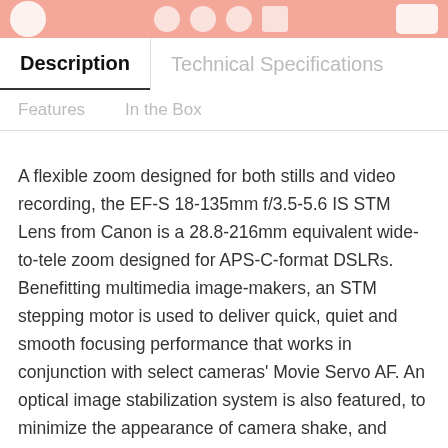Description | Technical Specifications
Features | In the Box
A flexible zoom designed for both stills and video recording, the EF-S 18-135mm f/3.5-5.6 IS STM Lens from Canon is a 28.8-216mm equivalent wide-to-tele zoom designed for APS-C-format DSLRs. Benefitting multimedia image-makers, an STM stepping motor is used to deliver quick, quiet and smooth focusing performance that works in conjunction with select cameras' Movie Servo AF. An optical image stabilization system is also featured, to minimize the appearance of camera shake, and Dynamic IS specifically supports video applications by compensating for camera shake caused while walking during recording. Besides these